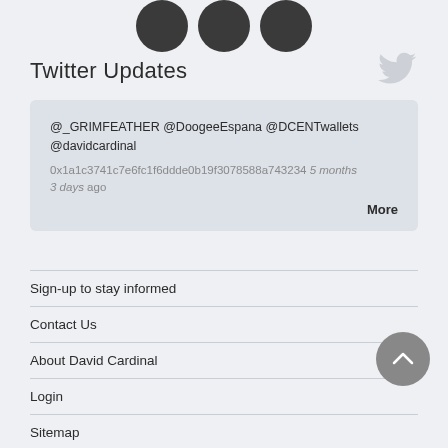[Figure (illustration): Three dark circular social media icon buttons at top of page]
Twitter Updates
@_GRIMFEATHER @DoogeeEspana @DCENTwallets @davidcardinal 0x1a1c3741c7e6fc1f6ddde0b19f3078588a743234 5 months 3 days ago More
Sign-up to stay informed
Contact Us
About David Cardinal
Login
Sitemap
Terms of Use
Home